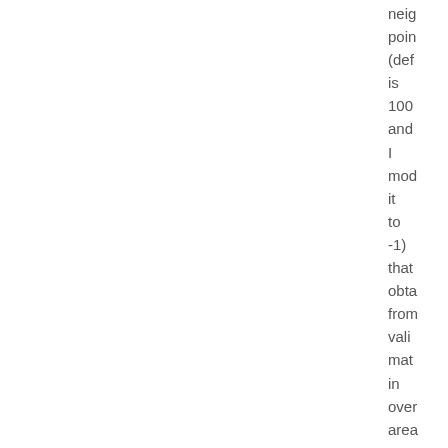neig poin (def is 100 and I mod it to -1) that obta from vali mat in over area How sinc this